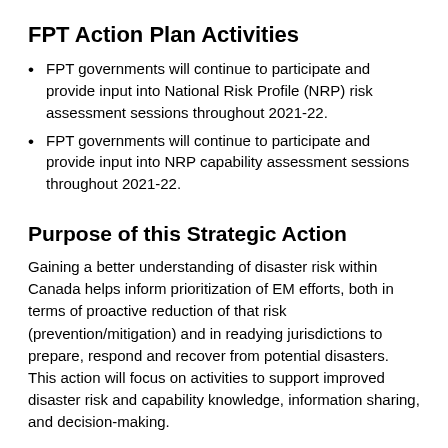FPT Action Plan Activities
FPT governments will continue to participate and provide input into National Risk Profile (NRP) risk assessment sessions throughout 2021-22.
FPT governments will continue to participate and provide input into NRP capability assessment sessions throughout 2021-22.
Purpose of this Strategic Action
Gaining a better understanding of disaster risk within Canada helps inform prioritization of EM efforts, both in terms of proactive reduction of that risk (prevention/mitigation) and in readying jurisdictions to prepare, respond and recover from potential disasters. This action will focus on activities to support improved disaster risk and capability knowledge, information sharing, and decision-making.